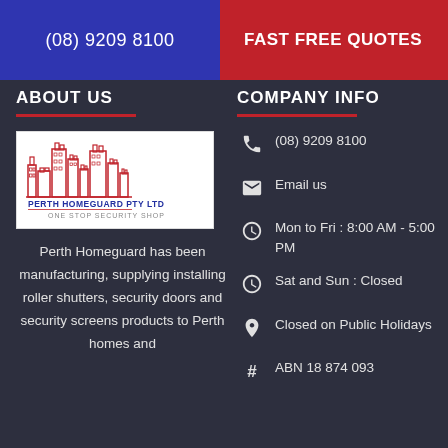(08) 9209 8100   FAST FREE QUOTES
ABOUT US
[Figure (logo): Perth Homeguard Pty Ltd logo — building skyline outline in red, company name and tagline ONE STOP SECURITY SHOP]
Perth Homeguard has been manufacturing, supplying installing roller shutters, security doors and security screens products to Perth homes and
COMPANY INFO
(08) 9209 8100
Email us
Mon to Fri : 8:00 AM - 5:00 PM
Sat and Sun : Closed
Closed on Public Holidays
ABN 18 874 093